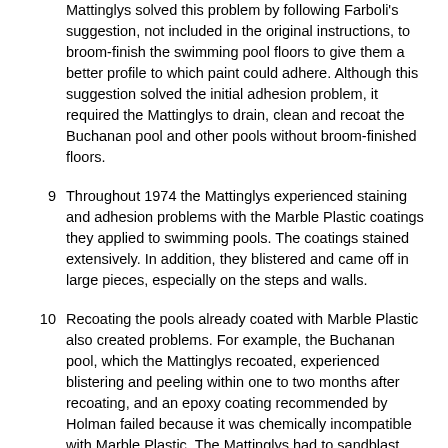Mattinglys solved this problem by following Farboli's suggestion, not included in the original instructions, to broom-finish the swimming pool floors to give them a better profile to which paint could adhere. Although this suggestion solved the initial adhesion problem, it required the Mattinglys to drain, clean and recoat the Buchanan pool and other pools without broom-finished floors.
9  Throughout 1974 the Mattinglys experienced staining and adhesion problems with the Marble Plastic coatings they applied to swimming pools. The coatings stained extensively. In addition, they blistered and came off in large pieces, especially on the steps and walls.
10  Recoating the pools already coated with Marble Plastic also created problems. For example, the Buchanan pool, which the Mattinglys recoated, experienced blistering and peeling within one to two months after recoating, and an epoxy coating recommended by Holman failed because it was chemically incompatible with Marble Plastic. The Mattinglys had to sandblast pools recoated with epoxy to remove the coating, causing them considerable expense and their customers considerable noise, dust and inconvenience. Customers also complained of staining and peeling in the spring of 1975 when the Mattingly companies' service departments began taking the covers off pools they had coated with the Marble Plastic base coat in